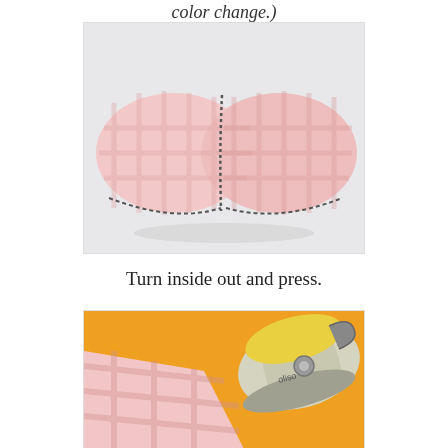color change.)
[Figure (photo): Pink gingham fabric mask, showing inside-out construction with visible stitching along the curved edges, placed on a white surface.]
Turn inside out and press.
[Figure (photo): Pink gingham fabric being pressed with a yellow and grey clothes iron on an orange/yellow background.]